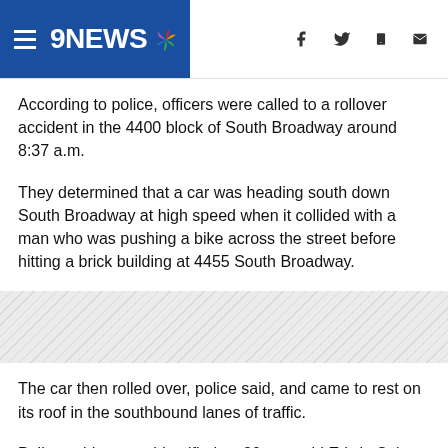9NEWS
According to police, officers were called to a rollover accident in the 4400 block of South Broadway around 8:37 a.m.
They determined that a car was heading south down South Broadway at high speed when it collided with a man who was pushing a bike across the street before hitting a brick building at 4455 South Broadway.
[Figure (other): Diagonal hatched advertisement placeholder banner]
The car then rolled over, police said, and came to rest on its roof in the southbound lanes of traffic.
Police said a man, identified as 20-year-old Edwin Solano of Thornton, was seen running from the car.